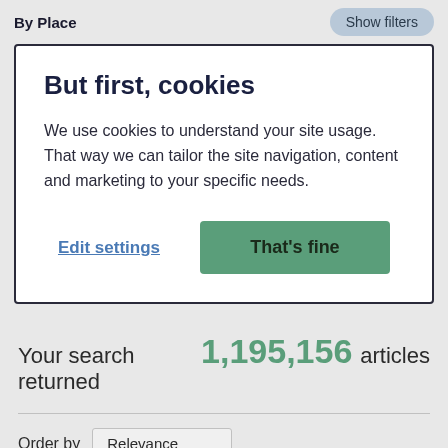By Place
But first, cookies
We use cookies to understand your site usage. That way we can tailor the site navigation, content and marketing to your specific needs.
Edit settings | That's fine
Your search returned 1,195,156 articles
Order by Relevance